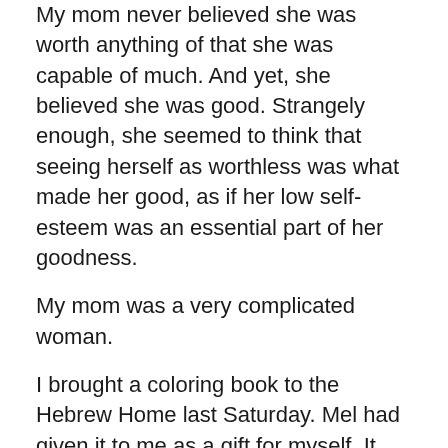My mom never believed she was worth anything of that she was capable of much. And yet, she believed she was good. Strangely enough, she seemed to think that seeing herself as worthless was what made her good, as if her low self-esteem was an essential part of her goodness.
My mom was a very complicated woman.
I brought a coloring book to the Hebrew Home last Saturday. Mel had given it to me as a gift for myself. It was an adult coloring book.
“Wow,” my mom said. “What’s this?”
The pages were full of mandalas, intricate kaleidoscopic drawings with hundreds, even thousands, of tiny shapes to color in.
“It’s a coloring book,” I said.